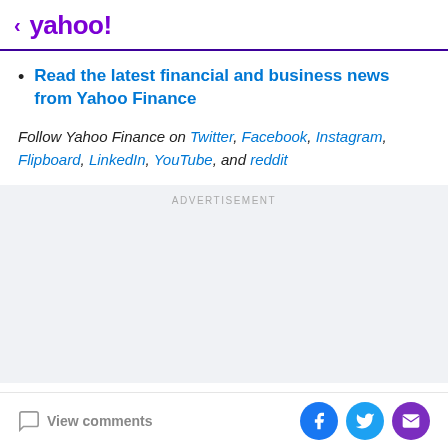< yahoo!
Read the latest financial and business news from Yahoo Finance
Follow Yahoo Finance on Twitter, Facebook, Instagram, Flipboard, LinkedIn, YouTube, and reddit
[Figure (other): Advertisement placeholder area with light gray background and ADVERTISEMENT label]
View comments | Facebook, Twitter, Email share icons